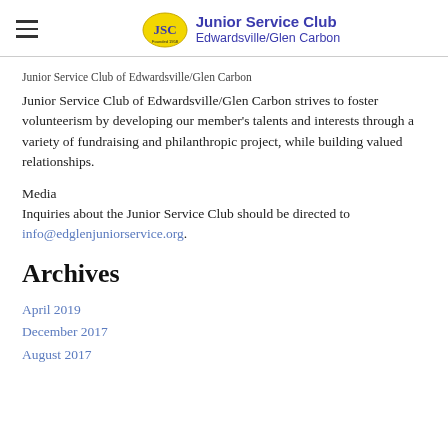Junior Service Club Edwardsville/Glen Carbon
Junior Service Club of Edwardsville/Glen Carbon
Junior Service Club of Edwardsville/Glen Carbon strives to foster volunteerism by developing our member's talents and interests through a variety of fundraising and philanthropic project, while building valued relationships.
Media
Inquiries about the Junior Service Club should be directed to info@edglenjuniorservice.org.
Archives
April 2019
December 2017
August 2017